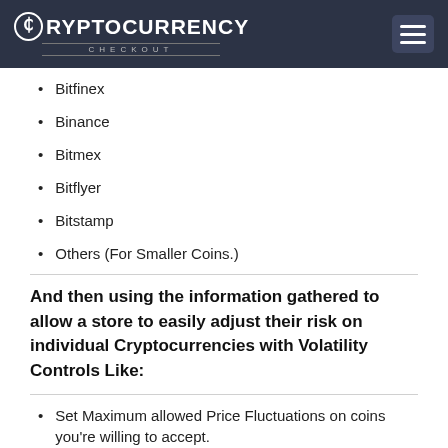Cryptocurrency Checkout
Bitfinex
Binance
Bitmex
Bitflyer
Bitstamp
Others (For Smaller Coins.)
And then using the information gathered to allow a store to easily adjust their risk on individual Cryptocurrencies with Volatility Controls Like:
Set Maximum allowed Price Fluctuations on coins you're willing to accept.